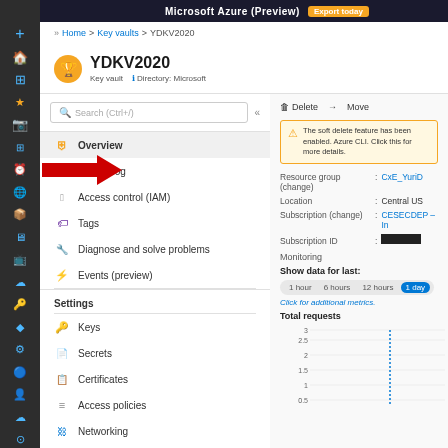Microsoft Azure (Preview) | Export today
Home > Key vaults > YDKV2020
YDKV2020
Key vault   Directory: Microsoft
Overview
Activity log
Access control (IAM)
Tags
Diagnose and solve problems
Events (preview)
Settings
Keys
Secrets
Certificates
Access policies
Networking
Properties
Locks
Export template
Monitoring
Alerts
Delete  → Move
The soft delete feature has been enabled. Azure CLI. Click this for more details.
Resource group (change) : CxE_YuriD
Location : Central US
Subscription (change) : CESECDEP – In
Subscription ID :
Monitoring
Show data for last:
1 hour   6 hours   12 hours   1 day
Click for additional metrics.
Total requests
[Figure (line-chart): Total requests line chart with y-axis values 0.5, 1, 1.5, 2, 2.5, 3 and a dotted vertical spike]